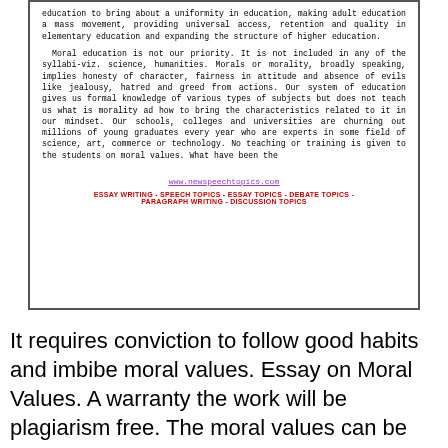[Figure (screenshot): Screenshot of a webpage from www.newspeechtopics.com showing essay text about moral education and a footer with site navigation labels.]
It requires conviction to follow good habits and imbibe moral values. Essay on Moral Values. A warranty the work will be plagiarism free. The moral values can be driven from laws, religions or cultural traditions and other values.